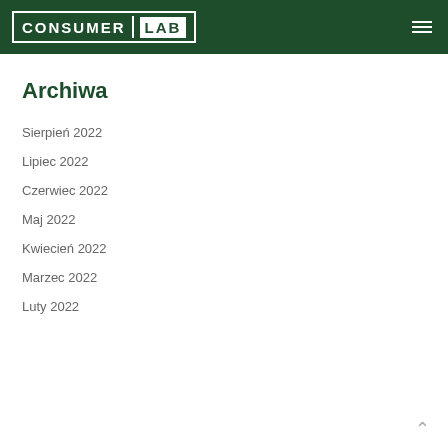Consumer Lab
Archiwa
Sierpień 2022
Lipiec 2022
Czerwiec 2022
Maj 2022
Kwiecień 2022
Marzec 2022
Luty 2022